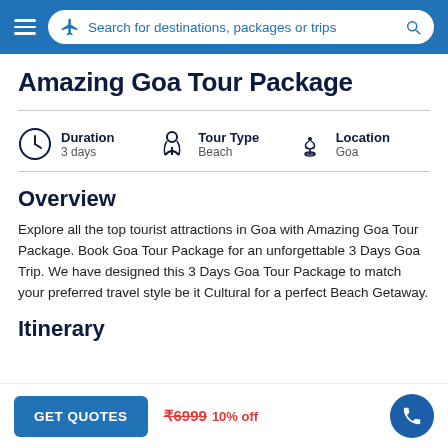Search for destinations, packages or trips
Amazing Goa Tour Package
Duration: 3 days | Tour Type: Beach | Location: Goa
Overview
Explore all the top tourist attractions in Goa with Amazing Goa Tour Package. Book Goa Tour Package for an unforgettable 3 Days Goa Trip. We have designed this 3 Days Goa Tour Package to match your preferred travel style be it Cultural for a perfect Beach Getaway.
Itinerary
GET QUOTES  ₹6999  10% off